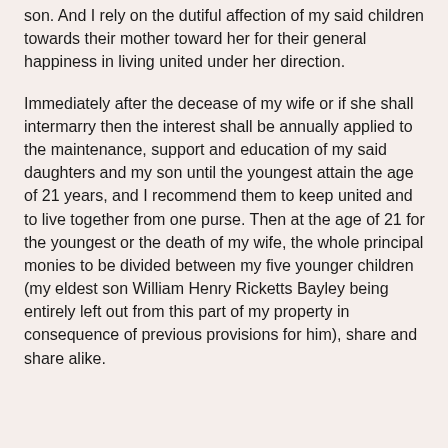son. And I rely on the dutiful affection of my said children towards their mother toward her for their general happiness in living united under her direction.
Immediately after the decease of my wife or if she shall intermarry then the interest shall be annually applied to the maintenance, support and education of my said daughters and my son until the youngest attain the age of 21 years, and I recommend them to keep united and to live together from one purse. Then at the age of 21 for the youngest or the death of my wife, the whole principal monies to be divided between my five younger children (my eldest son William Henry Ricketts Bayley being entirely left out from this part of my property in consequence of previous provisions for him), share and share alike.